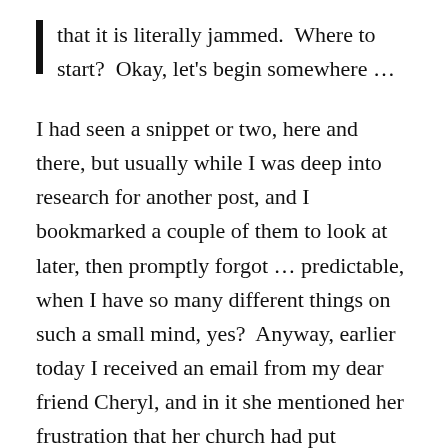that it is literally jammed.  Where to start?  Okay, let's begin somewhere …
I had seen a snippet or two, here and there, but usually while I was deep into research for another post, and I bookmarked a couple of them to look at later, then promptly forgot … predictable, when I have so many different things on such a small mind, yes?  Anyway, earlier today I received an email from my dear friend Cheryl, and in it she mentioned her frustration that her church had put together many kits containing toothbrushes, toothpaste, soap, and other personal care items to be donated to the migrant children being held